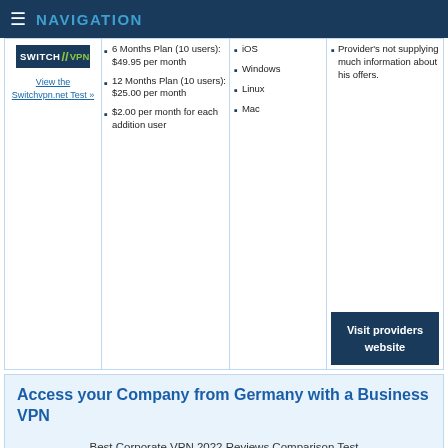≡ NAVIGATION
6 Months Plan (10 users): $49.95 per month
12 Months Plan (10 users): $25.00 per month
$2.00 per month for each addition user
iOS
Windows
Linux
Mac
Provider's not supplying much information about his offers.
Visit providers website
Access your Company from Germany with a Business VPN
Best Corporate VPN 2022 Reviews Comparison Test